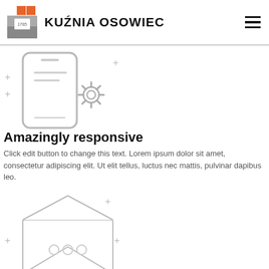KUŹNIA OSOWIEC
[Figure (illustration): Mobile phone with settings gear icon, decorative plus signs around it]
Amazingly responsive
Click edit button to change this text. Lorem ipsum dolor sit amet, consectetur adipiscing elit. Ut elit tellus, luctus nec mattis, pulvinar dapibus leo.
[Figure (illustration): Open envelope with message dots, decorative plus signs around it]
Community builder
Click edit button to change this text. Lorem ipsum dolor sit amet, consectetur